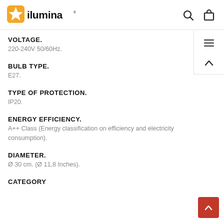[Figure (logo): ilumina brand logo with orange star/flash icon on left and black text 'ilumina' on right]
VOLTAGE.
220-240V 50/60Hz.
BULB TYPE.
E27.
TYPE OF PROTECTION.
IP20.
ENERGY EFFICIENCY.
A++ Class (Energy classification on efficiency and electricity consumption).
DIAMETER.
Ø 30 cm. (Ø 11,8 Inches).
CATEGORY